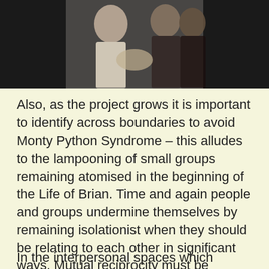[Figure (photo): A photograph showing a group of people, partially visible at the top of the page. Figures in light and dark clothing are visible, appearing to be interacting.]
Also, as the project grows it is important to identify across boundaries to avoid Monty Python Syndrome – this alludes to the lampooning of small groups remaining atomised in the beginning of the Life of Brian. Time and again people and groups undermine themselves by remaining isolationist when they should be relating to each other in significant ways. Mutual reciprocity must be fostered at an intergroup level.
In the interpersonal spaces which events are held, there are no members and non members, there